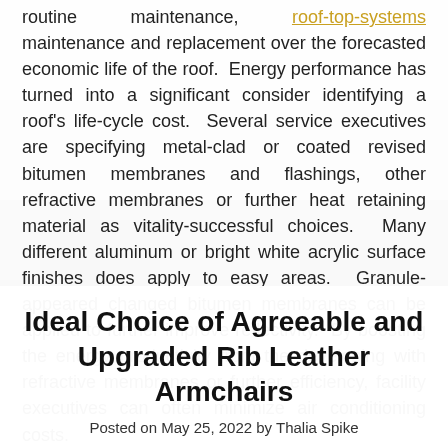routine maintenance, roof-top-systems maintenance and replacement over the forecasted economic life of the roof. Energy performance has turned into a significant consider identifying a roof's life-cycle cost. Several service executives are specifying metal-clad or coated revised bitumen membranes and flashings, other refractive membranes or further heat retaining material as vitality-successful choices. Many different aluminum or bright white acrylic surface finishes does apply to easy areas. Granule-appeared changed bitumen membranes can be applied to further improve reflectivity. By boosting the energy productivity from the developing with refractive membranes or further efficiency, facility executives can often minimize air conditioning costs.
Ideal Choice of Agreeable and Upgraded Rib Leather Armchairs
Posted on May 25, 2022 by Thalia Spike